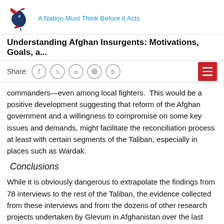A Nation Must Think Before it Acts
Understanding Afghan Insurgents: Motivations, Goals, a...
commanders—even among local fighters. This would be a positive development suggesting that reform of the Afghan government and a willingness to compromise on some key issues and demands, might facilitate the reconciliation process at least with certain segments of the Taliban, especially in places such as Wardak.
Conclusions
While it is obviously dangerous to extrapolate the findings from 78 interviews to the rest of the Taliban, the evidence collected from these interviews and from the dozens of other research projects undertaken by Glevum in Afghanistan over the last four years does suggest that the